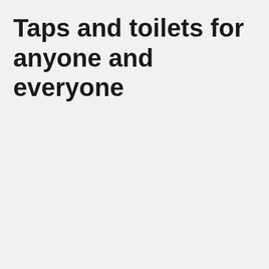Taps and toilets for anyone and everyone